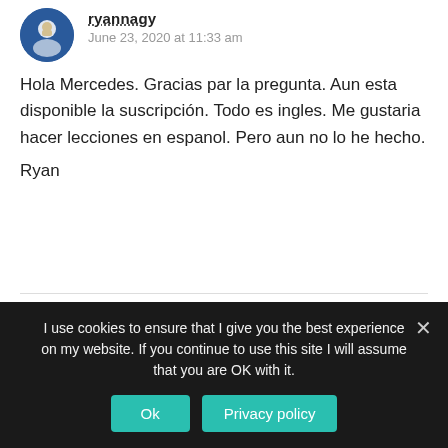[Figure (photo): Circular avatar photo with blue background showing a person]
ryannagy
June 23, 2020 at 11:33 am
Hola Mercedes. Gracias par la pregunta. Aun esta disponible la suscripción. Todo es ingles. Me gustaria hacer lecciones en espanol. Pero aun no lo he hecho.

Ryan
[Figure (photo): Circular gray avatar placeholder]
Isis Martinez
July 20, 2020 at 12:08 pm
I use cookies to ensure that I give you the best experience on my website. If you continue to use this site I will assume that you are OK with it.